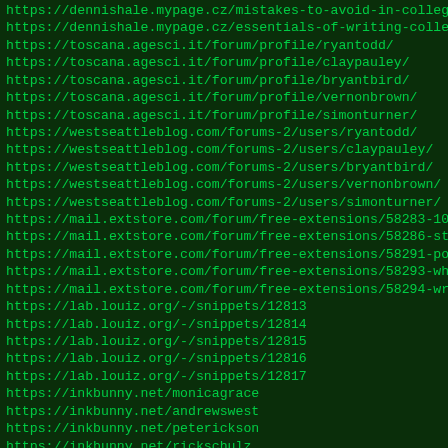https://dennishale.mypage.cz/mistakes-to-avoid-in-college
https://dennishale.mypage.cz/essentials-of-writing-college
https://toscana.agesci.it/forum/profile/ryantodd/
https://toscana.agesci.it/forum/profile/claypauley/
https://toscana.agesci.it/forum/profile/bryantbird/
https://toscana.agesci.it/forum/profile/vernonbrown/
https://toscana.agesci.it/forum/profile/simonturner/
https://westseattleblog.com/forums-2/users/ryantodd/
https://westseattleblog.com/forums-2/users/claypauley/
https://westseattleblog.com/forums-2/users/bryantbird/
https://westseattleblog.com/forums-2/users/vernonbrown/
https://westseattleblog.com/forums-2/users/simonturner/
https://mail.extstore.com/forum/free-extensions/58283-10-si
https://mail.extstore.com/forum/free-extensions/58286-strat
https://mail.extstore.com/forum/free-extensions/58291-point
https://mail.extstore.com/forum/free-extensions/58293-what-
https://mail.extstore.com/forum/free-extensions/58294-writi
https://lab.louiz.org/-/snippets/12813
https://lab.louiz.org/-/snippets/12814
https://lab.louiz.org/-/snippets/12815
https://lab.louiz.org/-/snippets/12816
https://lab.louiz.org/-/snippets/12817
https://inkbunny.net/monicagrace
https://inkbunny.net/andrewswest
https://inkbunny.net/peterickson
https://inkbunny.net/rickschulz
https://inkbunny.net/wilsonpatrick
http://ryan-todd-blog-1.populr.me/blog1
http://ryan-todd-blog-1.populr.me/dealing-with-college-appl
http://ryan-todd-blog-1.populr.me/how-classification-essays